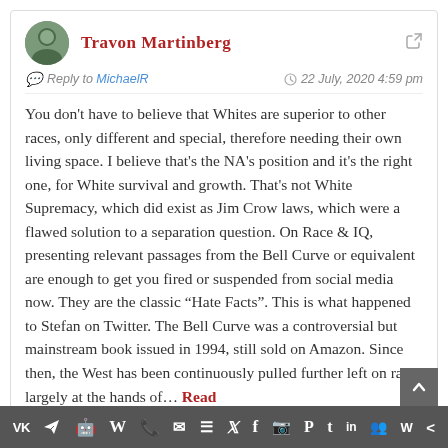Travon Martinberg
Reply to MichaelR — 22 July, 2020 4:59 pm
You don't have to believe that Whites are superior to other races, only different and special, therefore needing their own living space. I believe that's the NA's position and it's the right one, for White survival and growth. That's not White Supremacy, which did exist as Jim Crow laws, which were a flawed solution to a separation question. On Race & IQ, presenting relevant passages from the Bell Curve or equivalent are enough to get you fired or suspended from social media now. They are the classic "Hate Facts". This is what happened to Stefan on Twitter. The Bell Curve was a controversial but mainstream book issued in 1994, still sold on Amazon. Since then, the West has been continuously pulled further left on race, largely at the hands of… Read
Social share bar: VK, Telegram, Reddit, WordPress, WhatsApp, Email, Buffer, Twitter, Facebook, Instagram, Pinterest, Tumblr, LinkedIn, Share, Webtalk, Share